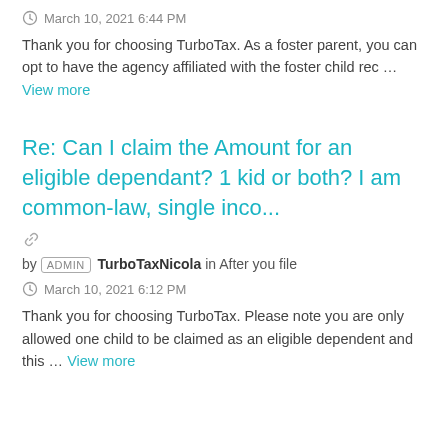March 10, 2021 6:44 PM
Thank you for choosing TurboTax. As a foster parent, you can opt to have the agency affiliated with the foster child rec… … View more
Re: Can I claim the Amount for an eligible dependant? 1 kid or both? I am common-law, single inco...
by ADMIN TurboTaxNicola in After you file
March 10, 2021 6:12 PM
Thank you for choosing TurboTax. Please note you are only allowed one child to be claimed as an eligible dependent and this … … View more